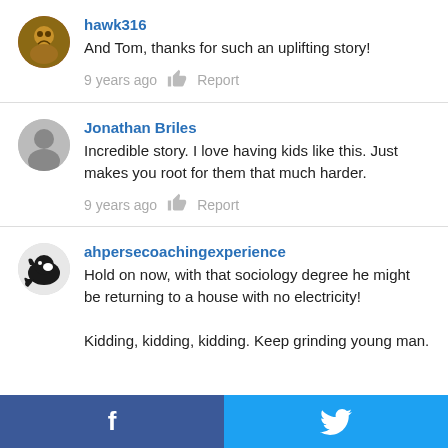hawk316
And Tom, thanks for such an uplifting story!
9 years ago  Report
Jonathan Briles
Incredible story. I love having kids like this. Just makes you root for them that much harder.
9 years ago  Report
ahpersecoachingexperience
Hold on now, with that sociology degree he might be returning to a house with no electricity!

Kidding, kidding, kidding. Keep grinding young man.